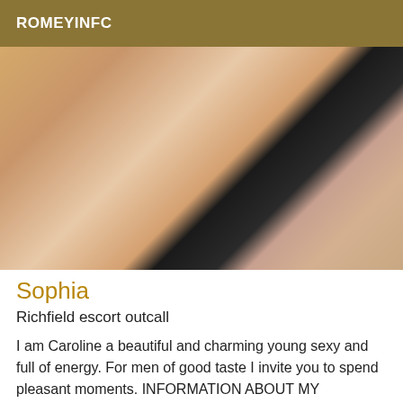ROMEYINFC
[Figure (photo): Close-up photo of a woman with long blonde hair wearing a black top]
Sophia
Richfield escort outcall
I am Caroline a beautiful and charming young sexy and full of energy. For men of good taste I invite you to spend pleasant moments. INFORMATION ABOUT MY